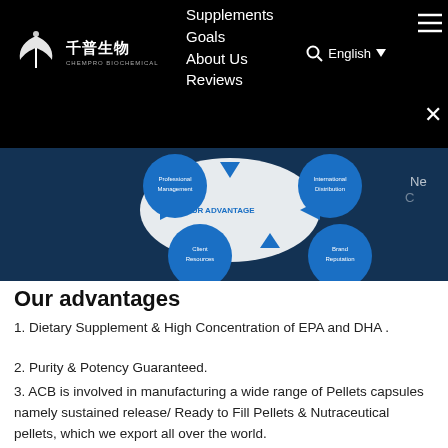Supplements Goals About Us Reviews
[Figure (logo): Chempro Biochemical logo with Chinese characters 千普生物 and a stylized leaf/wing icon]
[Figure (infographic): Our Advantage infographic showing four blue circular nodes: Professional Management, International Distribution, Client Resources, Brand Reputation connected by arrows on a dark blue background]
Our advantages
1. Dietary Supplement & High Concentration of EPA and DHA .
2. Purity & Potency Guaranteed.
3. ACB is involved in manufacturing a wide range of Pellets capsules namely sustained release/ Ready to Fill Pellets & Nutraceutical pellets, which we export all over the world.
4. We can customize orders to suit any of your dietary supplements needs and help you gain competitive advantage in the industry. We will work with you to make